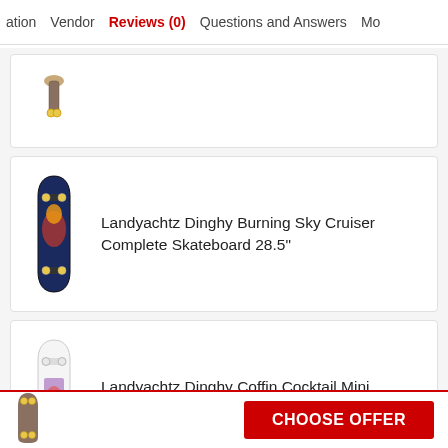ation  Vendor  Reviews (0)  Questions and Answers  Mo
[Figure (photo): Partially visible skateboard product image at top of list]
Landyachtz Dinghy Burning Sky Cruiser Complete Skateboard 28.5"
[Figure (photo): Landyachtz Dinghy Burning Sky Cruiser skateboard product photo]
Landyachtz Dinghy Coffin Cocktail Mini Cruiser Complete
[Figure (photo): Landyachtz Dinghy Coffin Cocktail Mini Cruiser skateboard product photo]
Landyachtz Dinghy Mini Cruiser Green Tiger Complete
[Figure (photo): Landyachtz Dinghy Mini Cruiser Green Tiger product photo]
CHOOSE OFFER